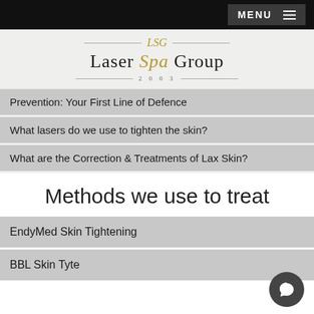MENU
[Figure (logo): Laser Spa Group logo with decorative lines and year 2003]
Prevention: Your First Line of Defence
What lasers do we use to tighten the skin?
What are the Correction & Treatments of Lax Skin?
Methods we use to treat
EndyMed Skin Tightening
BBL Skin Tyte